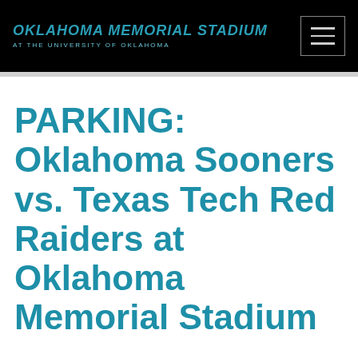OKLAHOMA MEMORIAL STADIUM AT THE UNIVERSITY OF OKLAHOMA
PARKING: Oklahoma Sooners vs. Texas Tech Red Raiders at Oklahoma Memorial Stadium